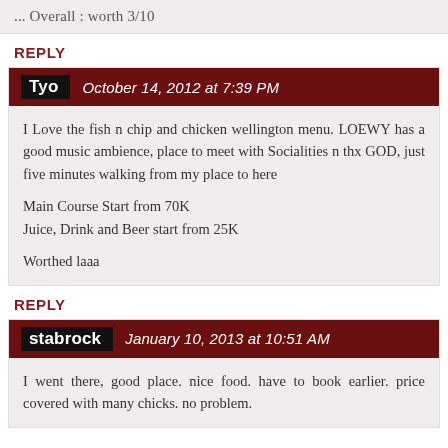... Overall : worth 3/10
REPLY
Tyo   October 14, 2012 at 7:39 PM
I Love the fish n chip and chicken wellington menu. LOEWY has a good music ambience, place to meet with Socialities n thx GOD, just five minutes walking from my place to here

Main Course Start from 70K
Juice, Drink and Beer start from 25K

Worthed laaa
REPLY
stabrock   January 10, 2013 at 10:51 AM
I went there, good place. nice food. have to book earlier. price covered with many chicks. no problem.